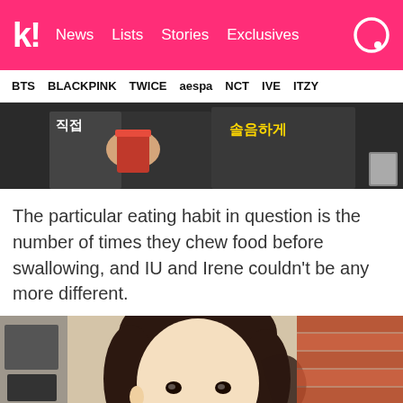k! News Lists Stories Exclusives
BTS BLACKPINK TWICE aespa NCT IVE ITZY
[Figure (photo): A person in dark clothing holding a red cup, with Korean text overlaid in white and yellow]
The particular eating habit in question is the number of times they chew food before swallowing, and IU and Irene couldn't be any more different.
[Figure (photo): A young Asian woman with dark hair in a ponytail, looking at the camera, with equipment and a brick wall visible in the background]